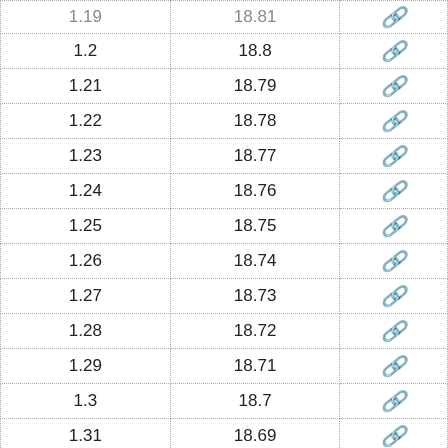|  |  |  |
| --- | --- | --- |
| 1.19 | 18.81 | 🔗 |
| 1.2 | 18.8 | 🔗 |
| 1.21 | 18.79 | 🔗 |
| 1.22 | 18.78 | 🔗 |
| 1.23 | 18.77 | 🔗 |
| 1.24 | 18.76 | 🔗 |
| 1.25 | 18.75 | 🔗 |
| 1.26 | 18.74 | 🔗 |
| 1.27 | 18.73 | 🔗 |
| 1.28 | 18.72 | 🔗 |
| 1.29 | 18.71 | 🔗 |
| 1.3 | 18.7 | 🔗 |
| 1.31 | 18.69 | 🔗 |
| 1.32 | 18.68 | 🔗 |
| 1.33 | 18.67 | 🔗 |
| 1.34 | 18.66 | 🔗 |
| 1.35 | 18.65 | 🔗 |